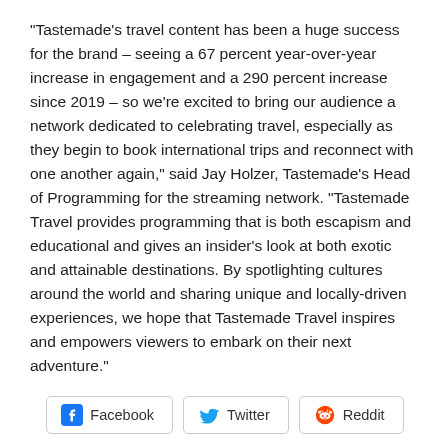“Tastemade’s travel content has been a huge success for the brand – seeing a 67 percent year-over-year increase in engagement and a 290 percent increase since 2019 – so we’re excited to bring our audience a network dedicated to celebrating travel, especially as they begin to book international trips and reconnect with one another again,” said Jay Holzer, Tastemade’s Head of Programming for the streaming network. “Tastemade Travel provides programming that is both escapism and educational and gives an insider’s look at both exotic and attainable destinations. By spotlighting cultures around the world and sharing unique and locally-driven experiences, we hope that Tastemade Travel inspires and empowers viewers to embark on their next adventure.”
[Figure (other): Social share buttons: Facebook, Twitter, Reddit]